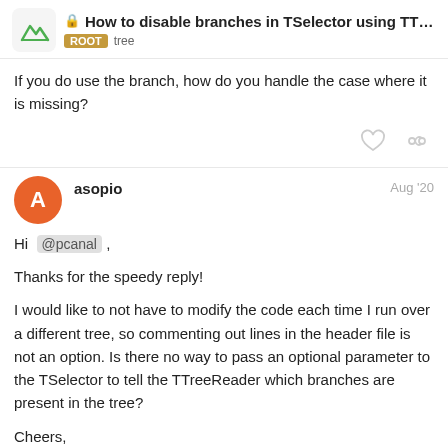🔒 How to disable branches in TSelector using TT… ROOT tree
If you do use the branch, how do you handle the case where it is missing?
asopio Aug '20
Hi @pcanal ,

Thanks for the speedy reply!

I would like to not have to modify the code each time I run over a different tree, so commenting out lines in the header file is not an option. Is there no way to pass an optional parameter to the TSelector to tell the TTreeReader which branches are present in the tree?

Cheers,
Alex